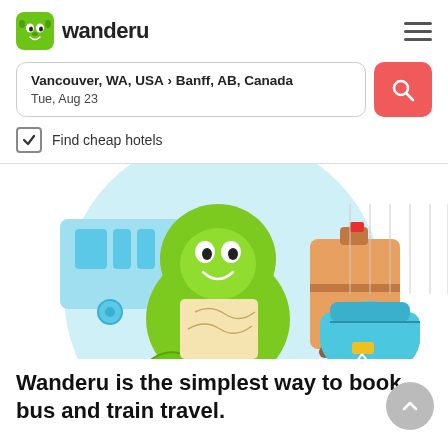wanderu
Vancouver, WA, USA › Banff, AB, Canada
Tue, Aug 23
Find cheap hotels
[Figure (illustration): Wanderu mascot (green cartoon character) holding a map, sitting next to an orange suitcase and a blue backpack, with a blue bus/train in the background]
Wanderu is the simplest way to book bus and train travel.